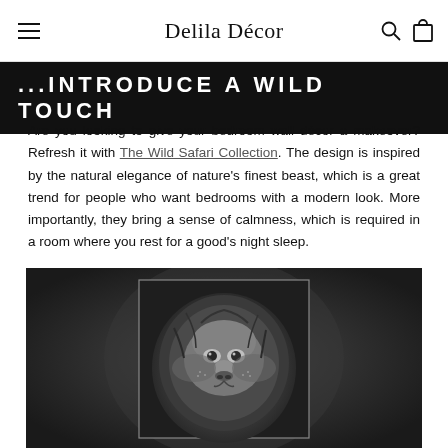Delila Décor
...INTRODUCE A WILD TOUCH
Are you looking to give your bedroom wall décor a makeover? Refresh it with The Wild Safari Collection. The design is inspired by the natural elegance of nature's finest beast, which is a great trend for people who want bedrooms with a modern look. More importantly, they bring a sense of calmness, which is required in a room where you rest for a good's night sleep.
[Figure (photo): Black and white close-up photograph of a lion's face, displayed within a framed print on a dark background]